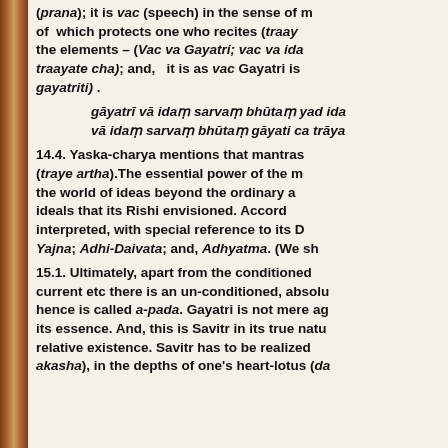(prana); it is vac (speech) in the sense of m of which protects one who recites (traay the elements – (Vac va Gayatri; vac va ida traayate cha); and, it is as vac Gayatri is gayatriti).
gāyatrī vā idaṃ sarvaṃ bhūtaṃ yad ida vā idaṃ sarvaṃ bhūtaṃ gāyati ca trāya
14.4. Yaska-charya mentions that mantras (traye artha).The essential power of the m the world of ideas beyond the ordinary a ideals that its Rishi envisioned. Accord interpreted, with special reference to its D Yajna; Adhi-Daivata; and, Adhyatma. (We sh
15.1. Ultimately, apart from the conditioned current etc there is an un-conditioned, absolu hence is called a-pada. Gayatri is not mere ag its essence. And, this is Savitr in its true natu relative existence. Savitr has to be realized akasha), in the depths of one's heart-lotus (da